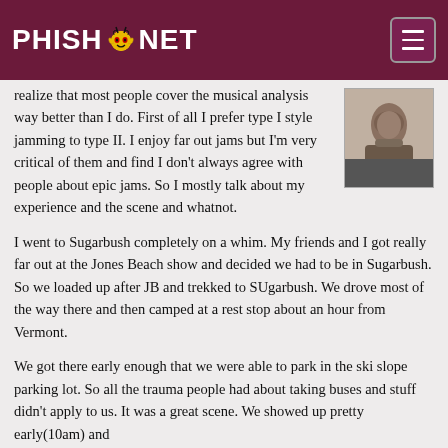PHISH.NET
[Figure (photo): Black and white portrait photo of a man]
realize that most people cover the musical analysis way better than I do. First of all I prefer type I style jamming to type II. I enjoy far out jams but I'm very critical of them and find I don't always agree with people about epic jams. So I mostly talk about my experience and the scene and whatnot.
I went to Sugarbush completely on a whim. My friends and I got really far out at the Jones Beach show and decided we had to be in Sugarbush. So we loaded up after JB and trekked to SUgarbush. We drove most of the way there and then camped at a rest stop about an hour from Vermont.
We got there early enough that we were able to park in the ski slope parking lot. So all the trauma people had about taking buses and stuff didn't apply to us. It was a great scene. We showed up pretty early(10am) and